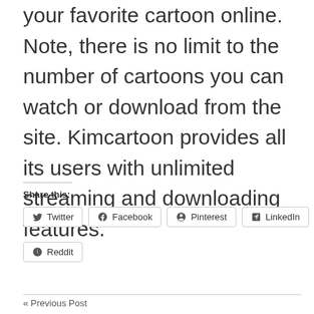your favorite cartoon online. Note, there is no limit to the number of cartoons you can watch or download from the site. Kimcartoon provides all its users with unlimited streaming and downloading features.
Share this:
Twitter
Facebook
Pinterest
LinkedIn
Reddit
« Previous Post